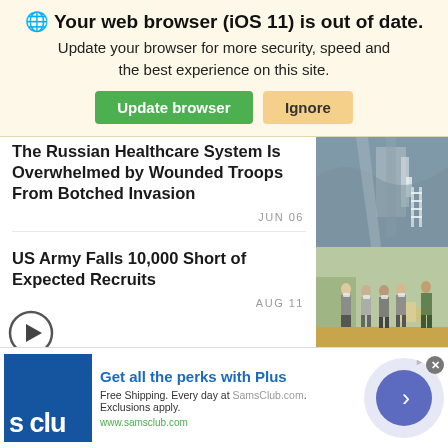🌐 Your web browser (iOS 11) is out of date. Update your browser for more security, speed and the best experience on this site.
Update browser | Ignore
The Russian Healthcare System Is Overwhelmed by Wounded Troops From Botched Invasion
JUN 06
US Army Falls 10,000 Short of Expected Recruits
AUG 11
[Figure (photo): Aerial/satellite image, grayscale terrain view]
[Figure (photo): Photo of young people in masks standing in a gym, possibly JROTC or military recruits]
[Figure (other): Sam's Club advertisement: Get all the perks with Plus. Free Shipping. Every day at SamsClub.com. Exclusions apply. www.samsclub.com]